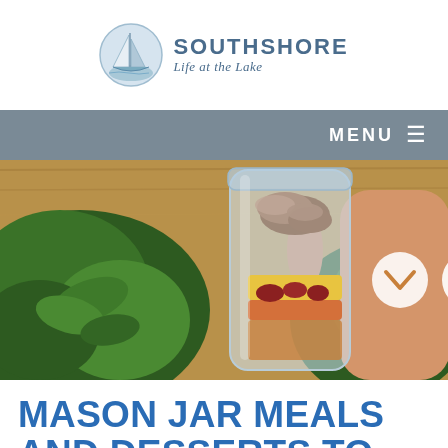[Figure (logo): Southshore Life at the Lake logo with sailboat emblem in blue circular badge and text to the right]
MENU ☰
[Figure (photo): A hand holding a glass mason jar filled with layered salad ingredients including mushrooms, corn, carrots, and other vegetables, with fresh arugula leaves in the background on a wooden surface. A white circular chevron/down-arrow icon overlaid in the center.]
MASON JAR MEALS AND DESSERTS TO MAKE!